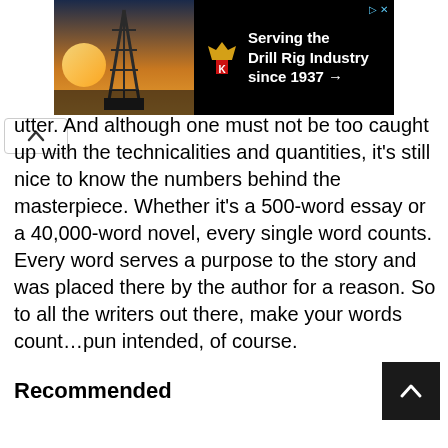[Figure (screenshot): Advertisement banner for King Oil Tools - Serving the Drill Rig Industry since 1937, with drilling rig image and King logo on black background]
utter. And although one must not be too caught up with the technicalities and quantities, it's still nice to know the numbers behind the masterpiece. Whether it's a 500-word essay or a 40,000-word novel, every single word counts. Every word serves a purpose to the story and was placed there by the author for a reason. So to all the writers out there, make your words count…pun intended, of course.
Recommended